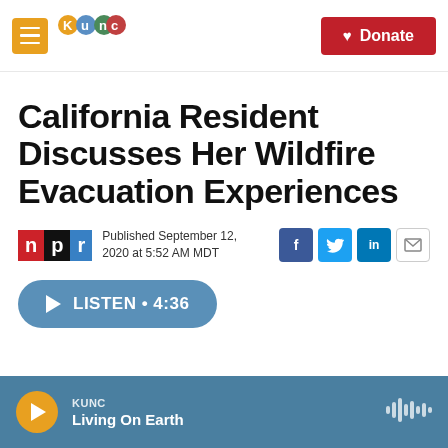[Figure (screenshot): KUNC public radio website header with hamburger menu icon, KUNC logo, mountain landscape background, and red Donate button]
California Resident Discusses Her Wildfire Evacuation Experiences
Published September 12, 2020 at 5:52 AM MDT
[Figure (logo): NPR logo with N in red, P in black, R in blue]
[Figure (infographic): Social share buttons for Facebook, Twitter, LinkedIn, and email]
LISTEN • 4:36
KUNC Living On Earth